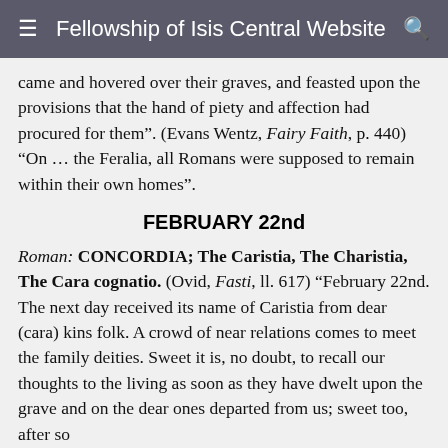Fellowship of Isis Central Website
came and hovered over their graves, and feasted upon the provisions that the hand of piety and affection had procured for them”. (Evans Wentz, Fairy Faith, p. 440) “On … the Feralia, all Romans were supposed to remain within their own homes”.
FEBRUARY 22nd
Roman: CONCORDIA; The Caristia, The Charistia, The Cara cognatio. (Ovid, Fasti, ll. 617) “February 22nd. The next day received its name of Caristia from dear (cara) kins folk. A crowd of near relations comes to meet the family deities. Sweet it is, no doubt, to recall our thoughts to the living as soon as they have dwelt upon the grave and on the dear ones departed from us; sweet too, after so